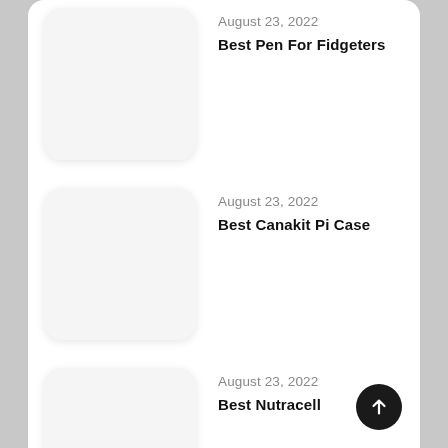August 23, 2022
Best Pen For Fidgeters
August 23, 2022
Best Canakit Pi Case
August 23, 2022
Best Nutracell
August 23, 2022
Best Pumkin Butt